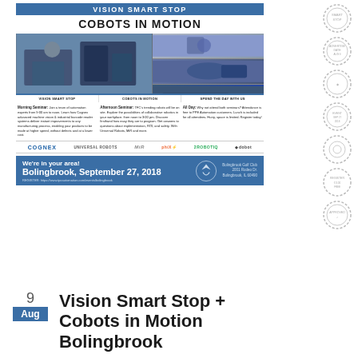[Figure (infographic): Vision Smart Stop + Cobots in Motion promotional flyer with industrial/cobot images, event details, sponsor logos (COGNEX, Universal Robots, MiR, phiX, ROBOTIQ, Dobot), and event location bar for Bolingbrook, September 27, 2018.]
Vision Smart Stop +
Cobots in Motion
Bolingbrook
9
Aug